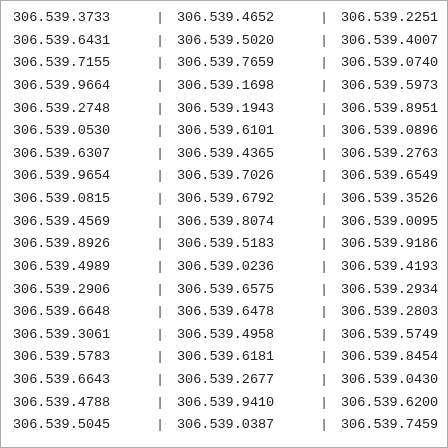| 306.539.3733 | | | 306.539.4652 | | | 306.539.2251 | | |
| 306.539.6431 | | | 306.539.5020 | | | 306.539.4007 | | |
| 306.539.7155 | | | 306.539.7659 | | | 306.539.0740 | | |
| 306.539.9664 | | | 306.539.1698 | | | 306.539.5973 | | |
| 306.539.2748 | | | 306.539.1943 | | | 306.539.8951 | | |
| 306.539.0530 | | | 306.539.6101 | | | 306.539.0896 | | |
| 306.539.6307 | | | 306.539.4365 | | | 306.539.2763 | | |
| 306.539.9654 | | | 306.539.7026 | | | 306.539.6549 | | |
| 306.539.0815 | | | 306.539.6792 | | | 306.539.3526 | | |
| 306.539.4569 | | | 306.539.8074 | | | 306.539.0095 | | |
| 306.539.8926 | | | 306.539.5183 | | | 306.539.9186 | | |
| 306.539.4989 | | | 306.539.0236 | | | 306.539.4193 | | |
| 306.539.2906 | | | 306.539.6575 | | | 306.539.2934 | | |
| 306.539.6648 | | | 306.539.6478 | | | 306.539.2803 | | |
| 306.539.3061 | | | 306.539.4958 | | | 306.539.5749 | | |
| 306.539.5783 | | | 306.539.6181 | | | 306.539.8454 | | |
| 306.539.6643 | | | 306.539.2677 | | | 306.539.0430 | | |
| 306.539.4788 | | | 306.539.9410 | | | 306.539.6200 | | |
| 306.539.5045 | | | 306.539.0387 | | | 306.539.7459 | | |